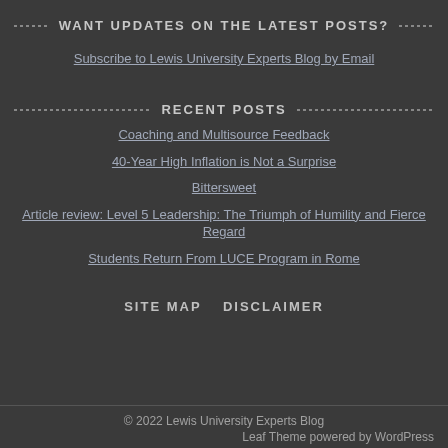WANT UPDATES ON THE LATEST POSTS?
Subscribe to Lewis University Experts Blog by Email
RECENT POSTS
Coaching and Multisource Feedback
40-Year High Inflation is Not a Surprise
Bittersweet
Article review: Level 5 Leadership: The Triumph of Humility and Fierce Regard
Students Return From LUCE Program in Rome
SITE MAP   DISCLAIMER
© 2022 Lewis University Experts Blog
Leaf Theme powered by WordPress